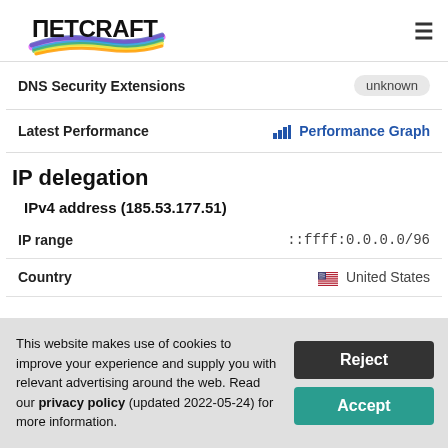Netcraft
| Field | Value |
| --- | --- |
| DNS Security Extensions | unknown |
| Latest Performance | Performance Graph |
IP delegation
IPv4 address (185.53.177.51)
| Field | Value |
| --- | --- |
| IP range | ::ffff:0.0.0.0/96 |
| Country | United States |
This website makes use of cookies to improve your experience and supply you with relevant advertising around the web. Read our privacy policy (updated 2022-05-24) for more information.